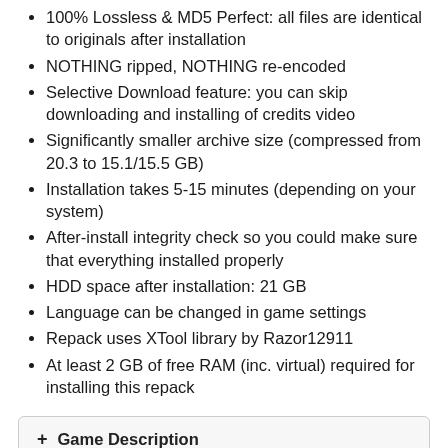100% Lossless & MD5 Perfect: all files are identical to originals after installation
NOTHING ripped, NOTHING re-encoded
Selective Download feature: you can skip downloading and installing of credits video
Significantly smaller archive size (compressed from 20.3 to 15.1/15.5 GB)
Installation takes 5-15 minutes (depending on your system)
After-install integrity check so you could make sure that everything installed properly
HDD space after installation: 21 GB
Language can be changed in game settings
Repack uses XTool library by Razor12911
At least 2 GB of free RAM (inc. virtual) required for installing this repack
+ Game Description